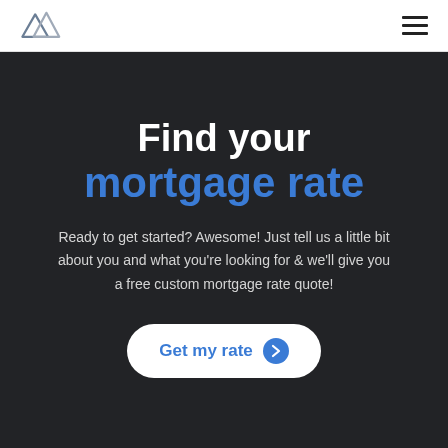[Figure (logo): Mountain peaks logo mark in dark grey/slate color]
Find your mortgage rate
Ready to get started? Awesome! Just tell us a little bit about you and what you're looking for & we'll give you a free custom mortgage rate quote!
Get my rate